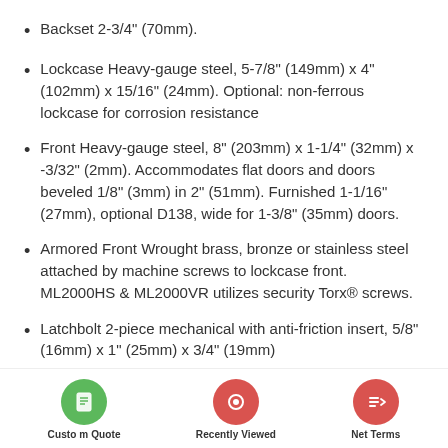Backset 2-3/4" (70mm).
Lockcase Heavy-gauge steel, 5-7/8" (149mm) x 4" (102mm) x 15/16" (24mm). Optional: non-ferrous lockcase for corrosion resistance
Front Heavy-gauge steel, 8" (203mm) x 1-1/4" (32mm) x -3/32" (2mm). Accommodates flat doors and doors beveled 1/8" (3mm) in 2" (51mm). Furnished 1-1/16" (27mm), optional D138, wide for 1-3/8" (35mm) doors.
Armored Front Wrought brass, bronze or stainless steel attached by machine screws to lockcase front. ML2000HS & ML2000VR utilizes security Torx® screws.
Latchbolt 2-piece mechanical with anti-friction insert, 5/8" (16mm) x 1" (25mm) x 3/4" (19mm)
Custom Quote | Recently Viewed | Net Terms